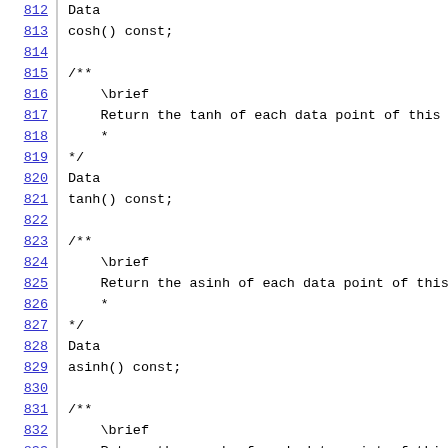Code listing lines 812-834 showing C++ Doxygen documentation for cosh(), tanh(), asinh(), and acosh() methods
812: Data
813: cosh() const;
814: (blank)
815: /**
816:     \brief
817:     Return the tanh of each data point of this Da
818:     *
819: */
820: Data
821: tanh() const;
822: (blank)
823: /**
824:     \brief
825:     Return the asinh of each data point of this D
826:     *
827: */
828: Data
829: asinh() const;
830: (blank)
831: /**
832:     \brief
833:     Return the acosh of each data point of this D
834:     *